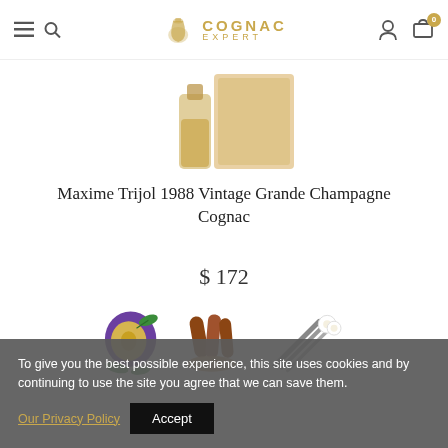Cognac Expert – navigation header with hamburger menu, search, logo, account and cart icons
[Figure (photo): Partial view of a cognac bottle and box product image (cropped at top)]
Maxime Trijol 1988 Vintage Grande Champagne Cognac
$ 172
[Figure (photo): Three flavor/tasting note icons: plum (purple plum cut in half), cinnamon (cinnamon sticks with powder), vanilla (vanilla bean pods)]
To give you the best possible experience, this site uses cookies and by continuing to use the site you agree that we can save them. Our Privacy Policy  Accept